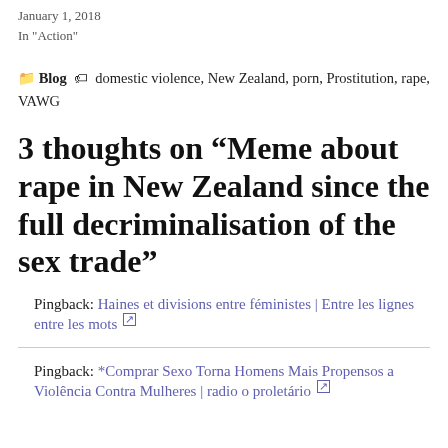January 1, 2018
In "Action"
Blog  domestic violence, New Zealand, porn, Prostitution, rape, VAWG
3 thoughts on “Meme about rape in New Zealand since the full decriminalisation of the sex trade”
Pingback: Haines et divisions entre féministes | Entre les lignes entre les mots
Pingback: *Comprar Sexo Torna Homens Mais Propensos a Violência Contra Mulheres | radio o proletário